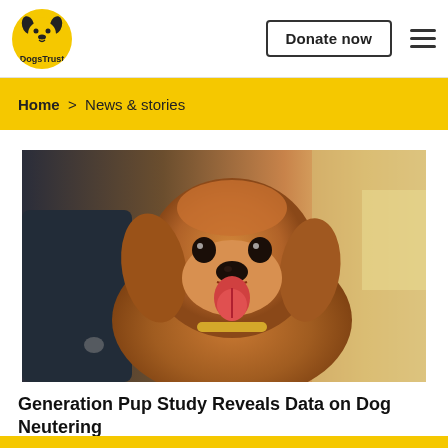DogsTrust | Donate now
Home > News & stories
[Figure (photo): A golden/red cocker spaniel puppy with its tongue out, being held by a person in a dark shirt, looking at the camera. Background is blurred yellow/white.]
Generation Pup Study Reveals Data on Dog Neutering